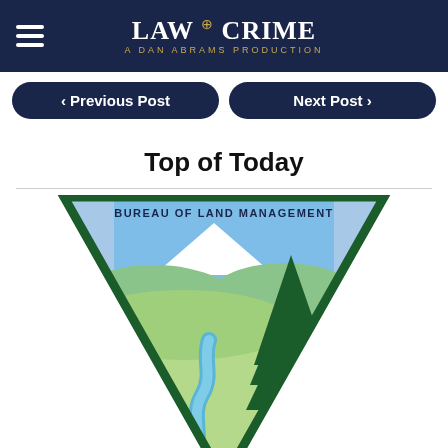LAW & CRIME - A DAN ABRAMS PRODUCTION
< Previous Post
Next Post >
Top of Today
[Figure (logo): Bureau of Land Management logo — an inverted triangle with a landscape scene showing a snow-capped mountain, green hills, a winding blue river, and a tall dark evergreen tree. Text at the top of the triangle reads BUREAU OF LAND MANAGEMENT.]